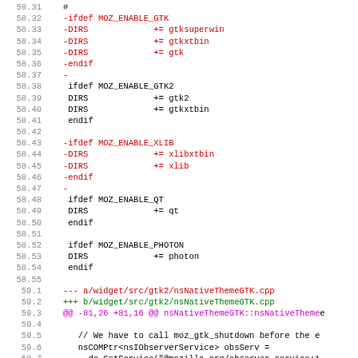[Figure (screenshot): Code diff viewer showing lines 58.31 through 59.7 of a source diff, with red lines indicating removed code, black lines for context, green lines for added file headers, and magenta for hunk markers. Content includes Makefile diff with GTK/XLIB/QT/PHOTON conditional build rules, then a C++ file header for nsNativeThemeGTK.cpp with code context.]